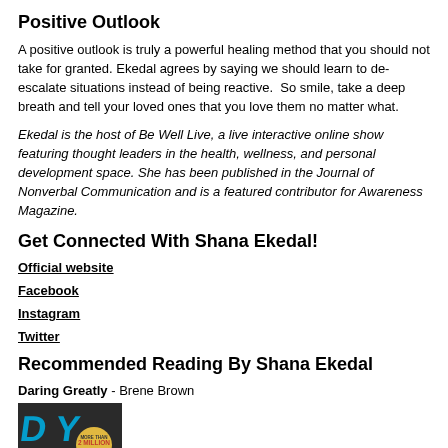Positive Outlook
A positive outlook is truly a powerful healing method that you should not take for granted. Ekedal agrees by saying we should learn to de-escalate situations instead of being reactive.  So smile, take a deep breath and tell your loved ones that you love them no matter what.
Ekedal is the host of Be Well Live, a live interactive online show featuring thought leaders in the health, wellness, and personal development space. She has been published in the Journal of Nonverbal Communication and is a featured contributor for Awareness Magazine.
Get Connected With Shana Ekedal!
Official website
Facebook
Instagram
Twitter
Recommended Reading By Shana Ekedal
Daring Greatly - Brene Brown
[Figure (photo): Book cover of Daring Greatly showing dark background with blue stylized text and a circular badge reading 'More Than 2 Million Copies Sold']